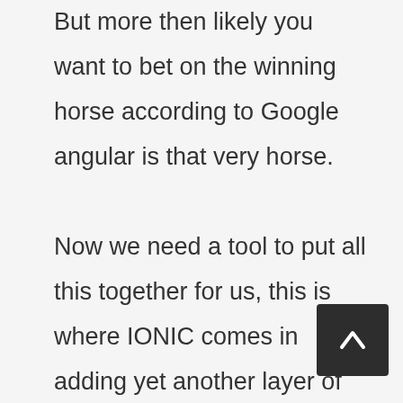But more then likely you want to bet on the winning horse according to Google angular is that very horse.

Now we need a tool to put all this together for us, this is where IONIC comes in adding yet another layer of abstraction to developing mobile applications. Ionic provides an SDK for your application to use, this includes documentation, directives, CLI, Java script Components and many more tools.
[Figure (other): Scroll-to-top button: dark square button with upward-pointing chevron arrow]